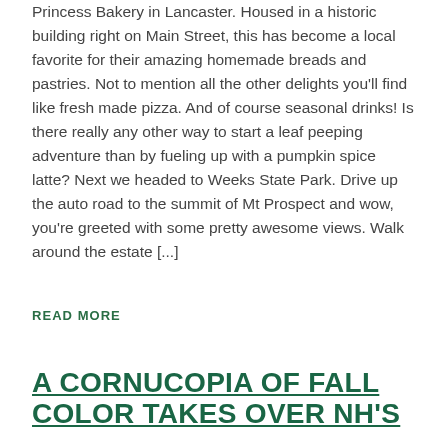Princess Bakery in Lancaster.  Housed in a historic building right on Main Street, this has become a local favorite for their amazing homemade breads and pastries.  Not to mention all the other delights you'll find like fresh made pizza.  And of course seasonal drinks! Is there really any other way to start a leaf peeping adventure than by fueling up with a pumpkin spice latte?  Next we headed to Weeks State Park.  Drive up the auto road to the summit of Mt Prospect and wow, you're greeted with some pretty awesome views.  Walk around the estate [...]
READ MORE
A CORNUCOPIA OF FALL COLOR TAKES OVER NH'S